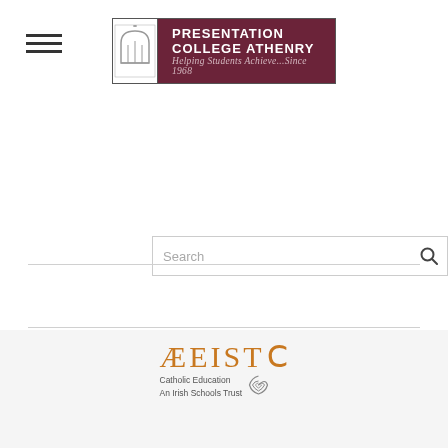[Figure (logo): Presentation College Athenry logo: gothic arch icon on white background next to dark red/maroon box with text 'PRESENTATION COLLEGE ATHENRY' and subtitle 'Helping Students Achieve...Since 1968']
[Figure (screenshot): Search bar with placeholder text 'Search' and magnifying glass icon]
[Figure (logo): CEIST logo: 'CEIST' in orange stylized lettering with subtitle 'Catholic Education An Irish Schools Trust' and spiral graphic element]